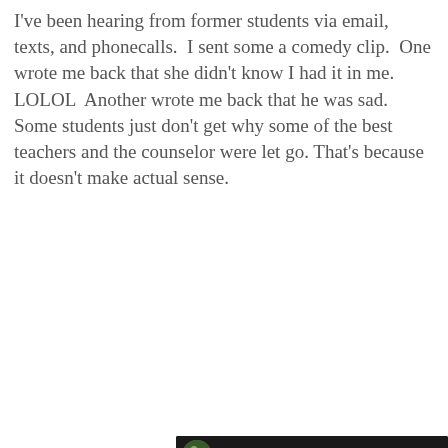I've been hearing from former students via email, texts, and phonecalls.  I sent some a comedy clip.  One wrote me back that she didn't know I had it in me.  LOLOL  Another wrote me back that he was sad.  Some students just don't get why some of the best teachers and the counselor were let go.  That's because it doesn't make actual sense.
[Figure (screenshot): YouTube video thumbnail showing a person standing outdoors near a brick wall. The video is titled 'VID 20180831 195...' with a circular thumbnail of two people in an outdoor setting in the top left, and a red YouTube play button in the center.]